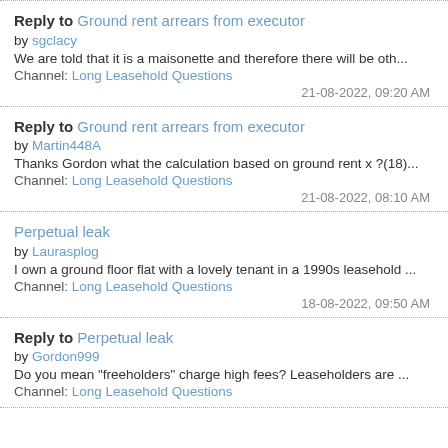Reply to Ground rent arrears from executor by sgclacy
We are told that it is a maisonette and therefore there will be oth...
Channel: Long Leasehold Questions
21-08-2022, 09:20 AM
Reply to Ground rent arrears from executor by Martin448A
Thanks Gordon what the calculation based on ground rent x ?(18)...
Channel: Long Leasehold Questions
21-08-2022, 08:10 AM
Perpetual leak by Laurasplog
I own a ground floor flat with a lovely tenant in a 1990s leasehold ...
Channel: Long Leasehold Questions
18-08-2022, 09:50 AM
Reply to Perpetual leak by Gordon999
Do you mean "freeholders" charge high fees? Leaseholders are ...
Channel: Long Leasehold Questions